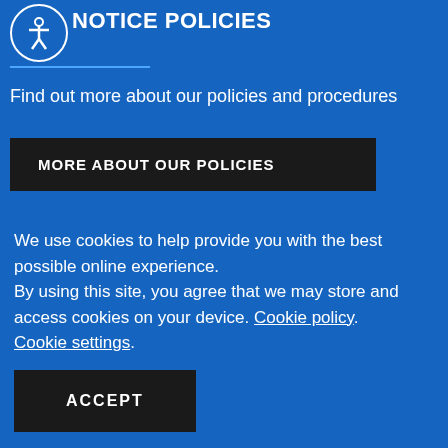NOTICE POLICIES
Find out more about our policies and procedures
MORE ABOUT OUR POLICIES
We use cookies to help provide you with the best possible online experience.
By using this site, you agree that we may store and access cookies on your device. Cookie policy.
Cookie settings.
ACCEPT